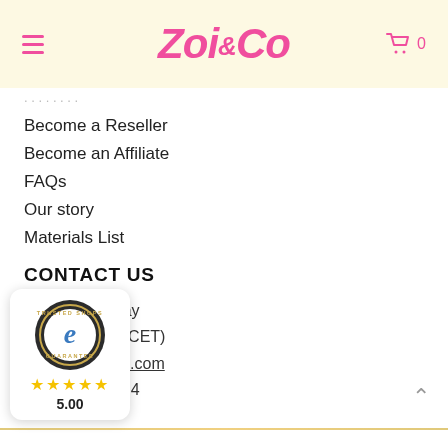Zoi & Co
...
Become a Reseller
Become an Affiliate
FAQs
Our story
Materials List
CONTACT US
Monday - Friday
09:00 - 17:00 (CET)
info@zoiandco.com
3 676 492 20 54
[Figure (logo): Trusted Shops Guarantee badge with gold 'e' logo, circular dark border with 'TRUSTED SHOPS GUARANTEE' text, 5 gold stars, rating 5.00]